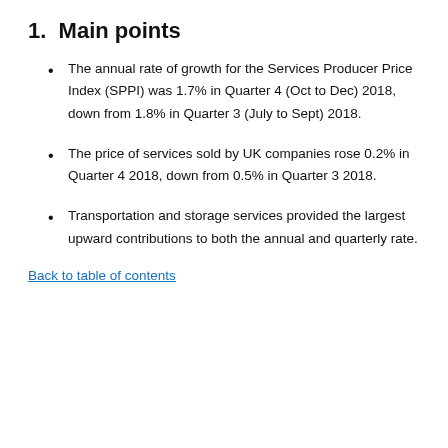1.  Main points
The annual rate of growth for the Services Producer Price Index (SPPI) was 1.7% in Quarter 4 (Oct to Dec) 2018, down from 1.8% in Quarter 3 (July to Sept) 2018.
The price of services sold by UK companies rose 0.2% in Quarter 4 2018, down from 0.5% in Quarter 3 2018.
Transportation and storage services provided the largest upward contributions to both the annual and quarterly rate.
Back to table of contents